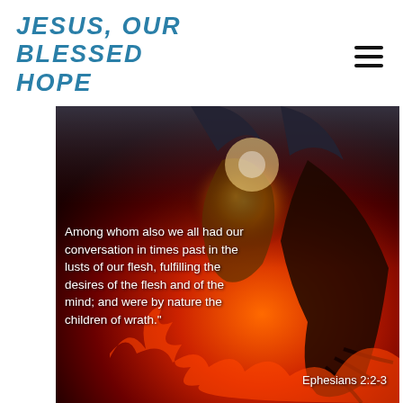JESUS, OUR BLESSED HOPE
[Figure (illustration): Dark fantasy digital painting depicting a demonic creature with wings gripping a human figure, surrounded by flames and fire. White overlaid text reads a Bible verse from Ephesians 2:2-3. Bottom right corner shows the reference 'Ephesians 2:2-3'.]
Among whom also we all had our conversation in times past in the lusts of our flesh, fulfilling the desires of the flesh and of the mind; and were by nature the children of wrath."
Ephesians 2:2-3